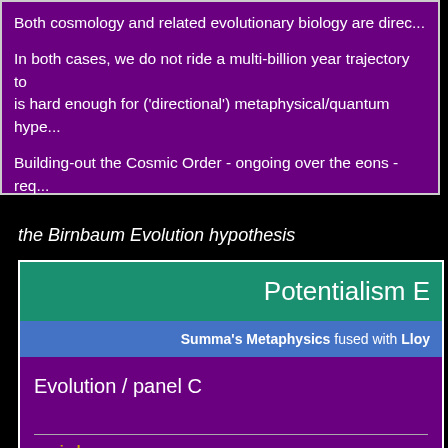Both cosmology and related evolutionary biology are direc...
In both cases, we do not ride a multi-billion year trajectory to... is hard enough for ('directional') metaphysical/quantum hype...
Building-out the Cosmic Order - ongoing over the eons - req... time catalyst - Q4P∞.
the Birnbaum Evolution hypothesis
Potentialism E
Summa's Metaphysics fused with Lloy...
Evolution / panel C
reminder: